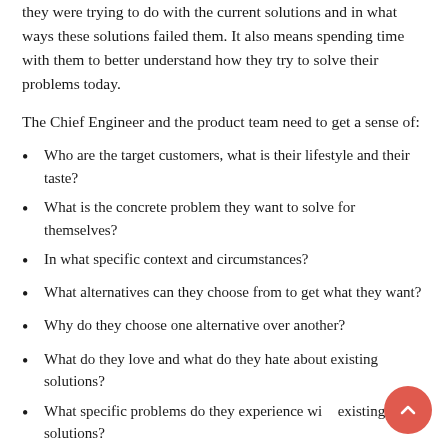they were trying to do with the current solutions and in what ways these solutions failed them. It also means spending time with them to better understand how they try to solve their problems today.
The Chief Engineer and the product team need to get a sense of:
Who are the target customers, what is their lifestyle and their taste?
What is the concrete problem they want to solve for themselves?
In what specific context and circumstances?
What alternatives can they choose from to get what they want?
Why do they choose one alternative over another?
What do they love and what do they hate about existing solutions?
What specific problems do they experience with existing solutions?